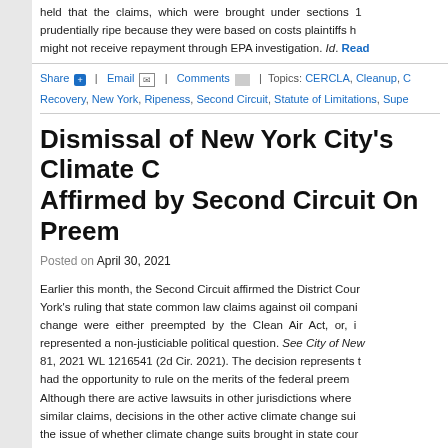held that the claims, which were brought under sections 1 prudentially ripe because they were based on costs plaintiffs h might not receive repayment through EPA investigation. Id. Read
Share | Email | Comments | Topics: CERCLA, Cleanup, C Recovery, New York, Ripeness, Second Circuit, Statute of Limitations, Supe
Dismissal of New York City's Climate C Affirmed by Second Circuit On Preem
Posted on April 30, 2021
Earlier this month, the Second Circuit affirmed the District Cour York's ruling that state common law claims against oil compani change were either preempted by the Clean Air Act, or, i represented a non-justiciable political question. See City of New 81, 2021 WL 1216541 (2d Cir. 2021). The decision represents t had the opportunity to rule on the merits of the federal preem Although there are active lawsuits in other jurisdictions where similar claims, decisions in the other active climate change sui the issue of whether climate change suits brought in state cour court. The decisions in those cases, therefore, have not ad preemption defense. (The Supreme Court is predicted to issue a